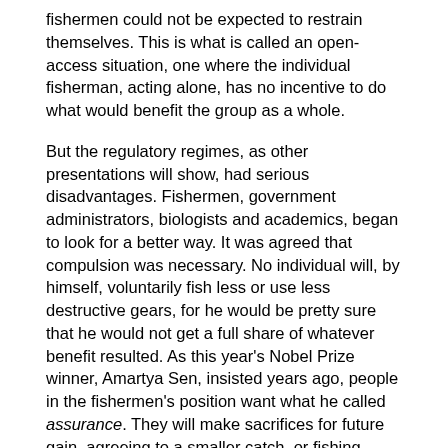fishermen could not be expected to restrain themselves. This is what is called an open-access situation, one where the individual fisherman, acting alone, has no incentive to do what would benefit the group as a whole.
But the regulatory regimes, as other presentations will show, had serious disadvantages. Fishermen, government administrators, biologists and academics, began to look for a better way. It was agreed that compulsion was necessary. No individual will, by himself, voluntarily fish less or use less destructive gears, for he would be pretty sure that he would not get a full share of whatever benefit resulted. As this year's Nobel Prize winner, Amartya Sen, insisted years ago, people in the fishermen's position want what he called assurance. They will make sacrifices for future gain, agreeing to a smaller catch, or fishing under frustrating regulations, if they are assured that everyone else must do the same. All the same, no other sector of the economy was so tangled up in changing, ad hoc regulations. When it was found in the 1960s that regulatory techniques could not stop more vessel owners from applying more and more fishing capacity, two new types of control were suggested.
One was a royalty. It was well-known, from people's response to prices, excise taxes and customs tariffs, that higher prices could bring about desired changes in behaviour.